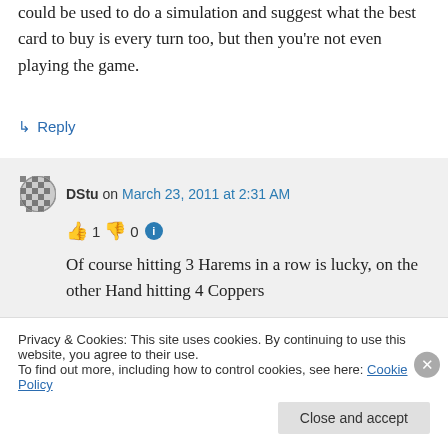could be used to do a simulation and suggest what the best card to buy is every turn too, but then you're not even playing the game.
↳ Reply
DStu on March 23, 2011 at 2:31 AM
👍 1 👎 0 ℹ
Of course hitting 3 Harems in a row is lucky, on the other Hand hitting 4 Coppers
Privacy & Cookies: This site uses cookies. By continuing to use this website, you agree to their use.
To find out more, including how to control cookies, see here: Cookie Policy
Close and accept